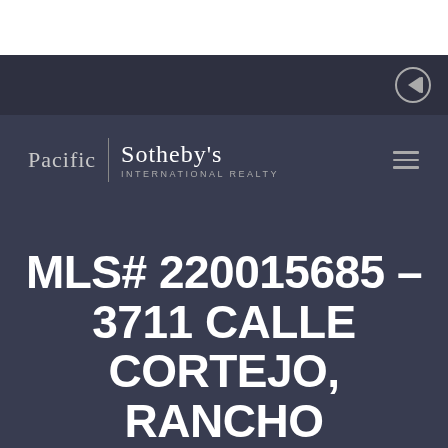[Figure (logo): Pacific Sotheby's International Realty logo with vertical divider between 'Pacific' and 'Sotheby's INTERNATIONAL REALTY']
MLS# 220015685 – 3711 CALLE CORTEJO, RANCHO SANTA FE, CA